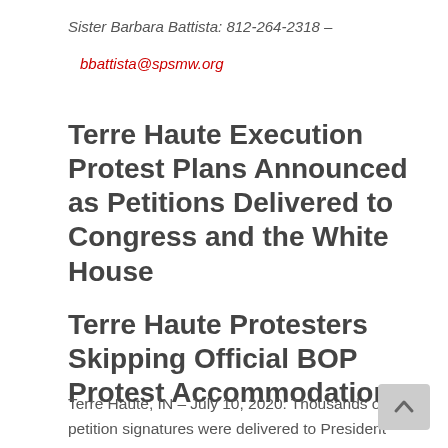Sister Barbara Battista: 812-264-2318 –
bbattista@spsmw.org
Terre Haute Execution Protest Plans Announced as Petitions Delivered to Congress and the White House
Terre Haute Protesters Skipping Official BOP Protest Accommodations
Terre Haute, IN – July 10, 2020: Thousands of petition signatures were delivered to President